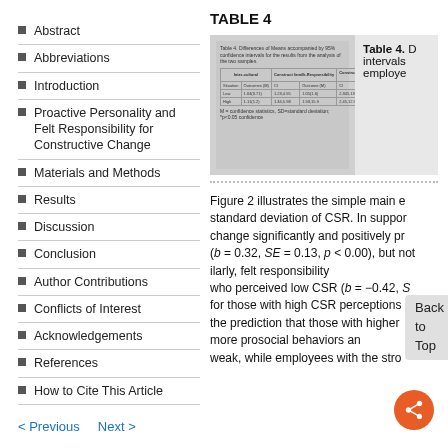Abstract
Abbreviations
Introduction
Proactive Personality and Felt Responsibility for Constructive Change
Materials and Methods
Results
Discussion
Conclusion
Author Contributions
Conflicts of Interest
Acknowledgements
References
How to Cite This Article
TABLE 4
[Figure (table-as-image): Thumbnail image of Table 4 showing confidence intervals data for employee behaviors]
Table 4. Differences of Means accompanied by 95% confidence intervals for employee behaviors in a modular calculation of the variables.
Figure 2 illustrates the simple main effects at one standard deviation of CSR. In support, felt responsibility for change significantly and positively predicted for high CSR (b = 0.32, SE = 0.13, p < 0.00), but not... Similarly, felt responsibility... who perceived low CSR (b = −0.42, S... for those with high CSR perceptions... the prediction that those with higher... more prosocial behaviors and... weak, while employees with the stro...